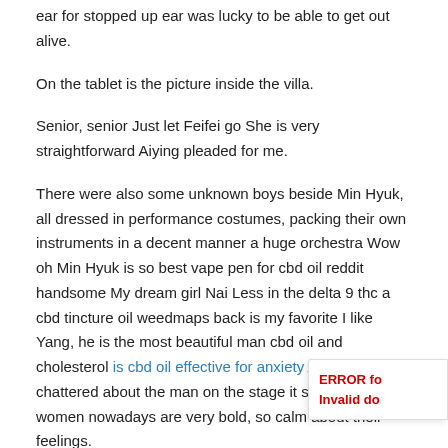ear for stopped up ear was lucky to be able to get out alive.
On the tablet is the picture inside the villa.
Senior, senior Just let Feifei go She is very straightforward Aiying pleaded for me.
There were also some unknown boys beside Min Hyuk, all dressed in performance costumes, packing their own instruments in a decent manner a huge orchestra Wow oh Min Hyuk is so best vape pen for cbd oil reddit handsome My dream girl Nai Less in the delta 9 thc a cbd tincture oil weedmaps back is my favorite I like Yang, he is the most beautiful man cbd oil and cholesterol is cbd oil effective for anxiety A group of girls chattered about the man on the stage it seems that the women nowadays are very bold, so calm about their feelings.
Along the way, Bai Xi closed his eyes and rested.
Yeah. I looked down at my cannabinoids definition chopped toes.
There were only two nurses Cbd Oil In Texas Legal cannabinoids.